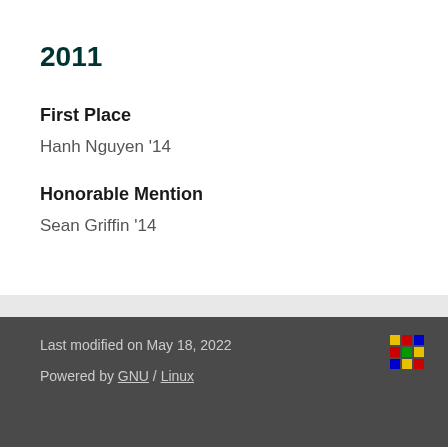2011
First Place
Hanh Nguyen '14
Honorable Mention
Sean Griffin '14
Last modified on May 18, 2022
Powered by GNU / Linux